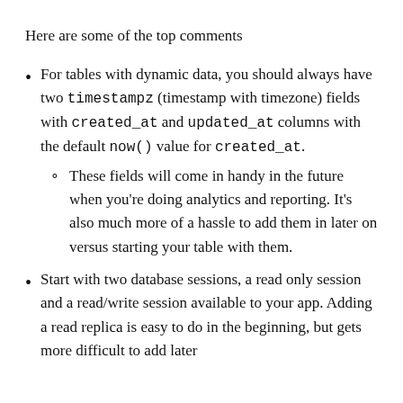Here are some of the top comments
For tables with dynamic data, you should always have two timestampz (timestamp with timezone) fields with created_at and updated_at columns with the default now() value for created_at.
These fields will come in handy in the future when you're doing analytics and reporting. It's also much more of a hassle to add them in later on versus starting your table with them.
Start with two database sessions, a read only session and a read/write session available to your app. Adding a read replica is easy to do in the beginning, but gets more difficult to add later